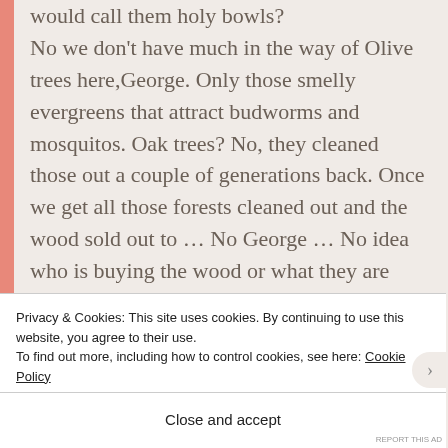would call them holy bowls? No we don't have much in the way of Olive trees here,George. Only those smelly evergreens that attract budworms and mosquitos. Oak trees? No, they cleaned those out a couple of generations back. Once we get all those forests cleaned out and the wood sold out to … No George … No idea who is buying the wood or what they are paying for it … Some American company? That seems to be the place where all our best
Privacy & Cookies: This site uses cookies. By continuing to use this website, you agree to their use. To find out more, including how to control cookies, see here: Cookie Policy
Close and accept